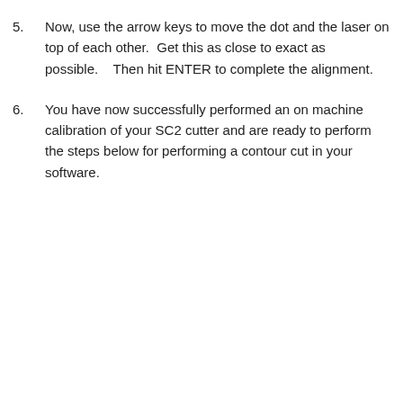5. Now, use the arrow keys to move the dot and the laser on top of each other.  Get this as close to exact as possible.    Then hit ENTER to complete the alignment.
6. You have now successfully performed an on machine calibration of your SC2 cutter and are ready to perform the steps below for performing a contour cut in your software.